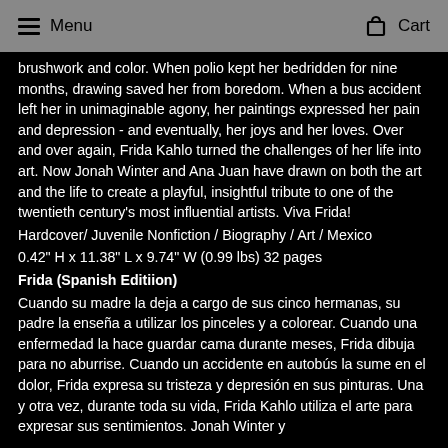Menu  Cart
brushwork and color. When polio kept her bedridden for nine months, drawing saved her from boredom. When a bus accident left her in unimaginable agony, her paintings expressed her pain and depression - and eventually, her joys and her loves. Over and over again, Frida Kahlo turned the challenges of her life into art. Now Jonah Winter and Ana Juan have drawn on both the art and the life to create a playful, insightful tribute to one of the twentieth century's most influential artists. Viva Frida!
Hardcover/ Juvenile Nonfiction / Biography / Art / Mexico
0.42" H x 11.38" L x 9.74" W (0.99 lbs) 32 pages
Frida (Spanish Editiion)
Cuando su madre la deja a cargo de sus cinco hermanas, su padre la enseña a utilizar los pinceles y a colorear. Cuando una enfermedad la hace guardar cama durante meses, Frida dibuja para no aburrise. Cuando un accidente en autobús la sume en el dolor, Frida expresa su tristeza y depresión en sus pinturas. Una y otra vez, durante toda su vida, Frida Kahlo utiliza el arte para expresar sus sentimientos. Jonah Winter y